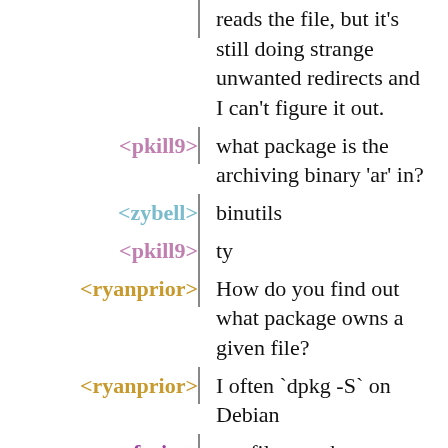reads the file, but it's still doing strange unwanted redirects and I can't figure it out.
<pkill9> what package is the archiving binary 'ar' in?
<zybell> binutils
<pkill9> ty
<ryanprior> How do you find out what package owns a given file?
<ryanprior> I often `dpkg -S` on Debian
<efraim> apt-file search on a debian box or 'find /gnu/store -name foo'